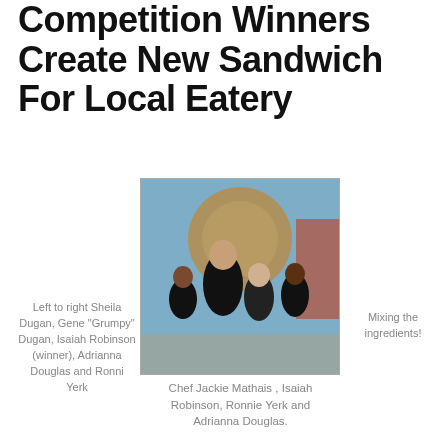Competition Winners Create New Sandwich For Local Eatery
[Figure (photo): Group photo of four people wearing black t-shirts standing in front of a colorful mural background]
Chef Jackie Mathais , Isaiah Robinson, Ronnie Yerk and Adrianna Douglas.
Left to right Sheila Dugan, Gene "Grumpy" Dugan, Isaiah Robinson (winner), Adrianna Douglas and Ronni Yerk
Mixing the ingredients!